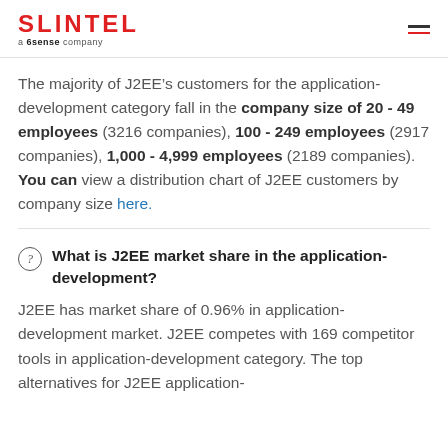SLINTEL a 6sense company
The majority of J2EE’s customers for the application-development category fall in the company size of 20 - 49 employees (3216 companies), 100 - 249 employees (2917 companies), 1,000 - 4,999 employees (2189 companies). You can view a distribution chart of J2EE customers by company size here.
What is J2EE market share in the application-development?
J2EE has market share of 0.96% in application-development market. J2EE competes with 169 competitor tools in application-development category. The top alternatives for J2EE application-